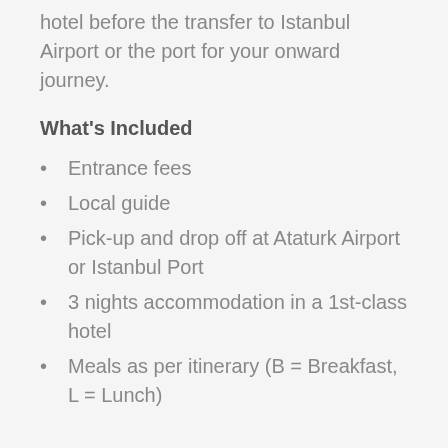hotel before the transfer to Istanbul Airport or the port for your onward journey.
What's Included
Entrance fees
Local guide
Pick-up and drop off at Ataturk Airport or Istanbul Port
3 nights accommodation in a 1st-class hotel
Meals as per itinerary (B = Breakfast, L = Lunch)